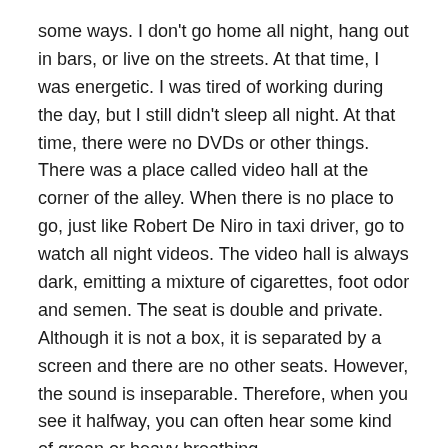some ways. I don't go home all night, hang out in bars, or live on the streets. At that time, I was energetic. I was tired of working during the day, but I still didn't sleep all night. At that time, there were no DVDs or other things. There was a place called video hall at the corner of the alley. When there is no place to go, just like Robert De Niro in taxi driver, go to watch all night videos. The video hall is always dark, emitting a mixture of cigarettes, foot odor and semen. The seat is double and private. Although it is not a box, it is separated by a screen and there are no other seats. However, the sound is inseparable. Therefore, when you see it halfway, you can often hear some kind of groan or heavy breathing.
If I had seen Murakami at that time, I might say that it was very similar to some kind of life written by him.
Unlike Robert De Niro, I've never been there alone. I think